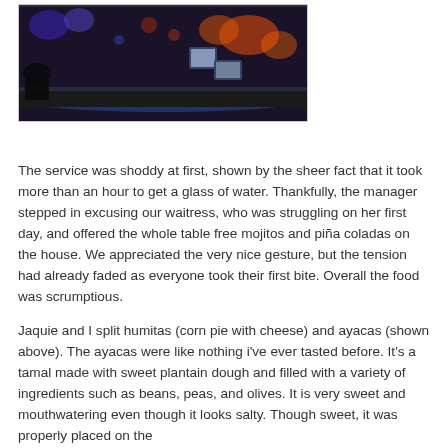[Figure (photo): Interior photo of a bar or restaurant with colorful blue and orange lighting, bar counter visible with monitors, dark ambiance]
The service was shoddy at first, shown by the sheer fact that it took more than an hour to get a glass of water. Thankfully, the manager stepped in excusing our waitress, who was struggling on her first day, and offered the whole table free mojitos and piña coladas on the house. We appreciated the very nice gesture, but the tension had already faded as everyone took their first bite. Overall the food was scrumptious.
Jaquie and I split humitas (corn pie with cheese) and ayacas (shown above). The ayacas were like nothing i've ever tasted before. It's a tamal made with sweet plantain dough and filled with a variety of ingredients such as beans, peas, and olives. It is very sweet and mouthwatering even though it looks salty. Though sweet, it was properly placed on the